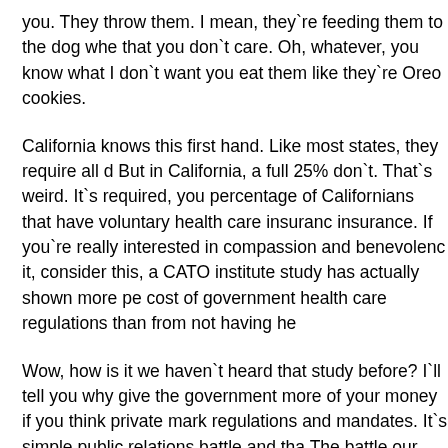you. They throw them. I mean, they`re feeding them to the dog whe that you don`t care. Oh, whatever, you know what I don`t want you eat them like they`re Oreo cookies.
California knows this first hand. Like most states, they require all d But in California, a full 25% don`t. That`s weird. It`s required, you percentage of Californians that have voluntary health care insuranc insurance. If you`re really interested in compassion and benevolenc it, consider this, a CATO institute study has actually shown more p cost of government health care regulations than from not having he
Wow, how is it we haven`t heard that study before? I`ll tell you wh give the government more of your money if you think private mark regulations and mandates. It`s simple public relations battle and tha The battle our government is winning and common sense is losing. director of health and welfare studies at the CATO Institute.